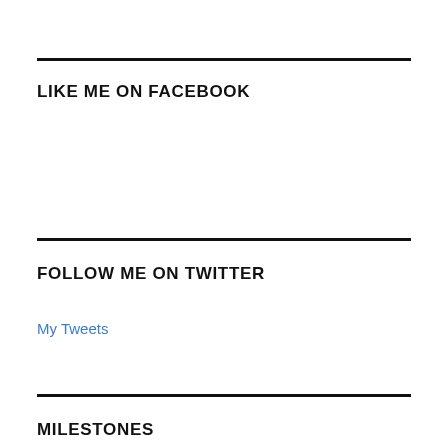LIKE ME ON FACEBOOK
FOLLOW ME ON TWITTER
My Tweets
MILESTONES